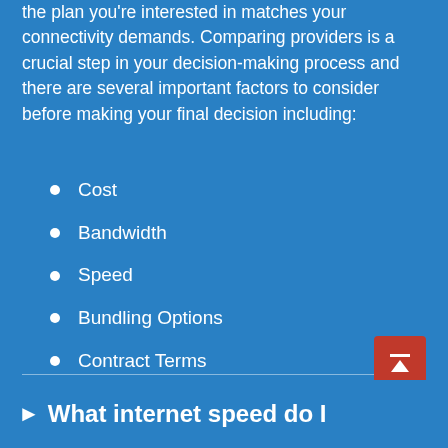the plan you're interested in matches your connectivity demands. Comparing providers is a crucial step in your decision-making process and there are several important factors to consider before making your final decision including:
Cost
Bandwidth
Speed
Bundling Options
Contract Terms
What internet speed do I